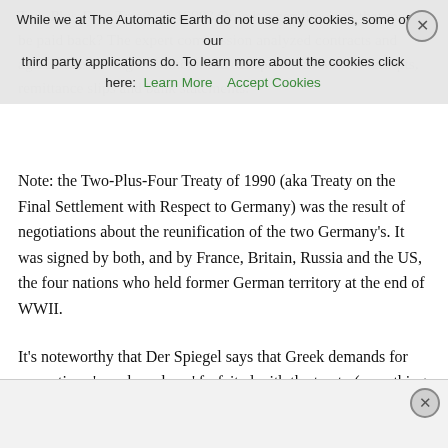Two-Plus-Four Treaty of 1990? Or is it a genuine loan that must be paid back? The expert commission analyzed contracts and agreements during the time of the occupation as well as receipts, remittance slips and bank statements.
While we at The Automatic Earth do not use any cookies, some of our third party applications do. To learn more about the cookies click here: Learn More  Accept Cookies
Note: the Two-Plus-Four Treaty of 1990 (aka Treaty on the Final Settlement with Respect to Germany) was the result of negotiations about the reunification of the two Germany's. It was signed by both, and by France, Britain, Russia and the US, the four nations who held former German territory at the end of WWII.
It's noteworthy that Der Spiegel says that Greek demands for reparations 'may have been' forfeited with the treaty (something Germany claims), while Tsipras insists on the exact opposite: that the treaty created the legal and political conditions for the reparations issue to finally be resolved. As we will see, many experts lean towards Tsipras' interpretation. Greece never signed, and nobody else had the right to sign in its name, that's the crux. But there's more: